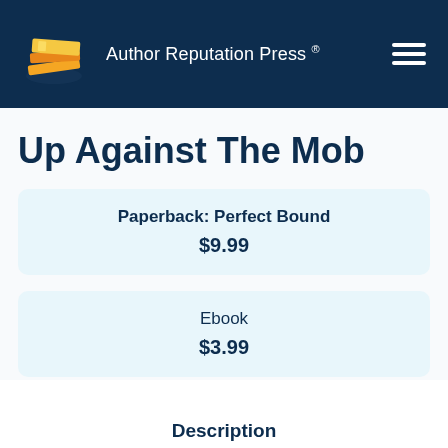Author Reputation Press ®
Up Against The Mob
Paperback: Perfect Bound
$9.99
Ebook
$3.99
Description